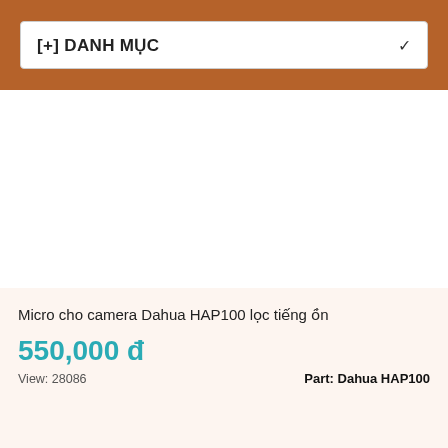[+] DANH MỤC
Micro cho camera Dahua HAP100 lọc tiếng ồn
550,000 đ
View: 28086
Part: Dahua HAP100